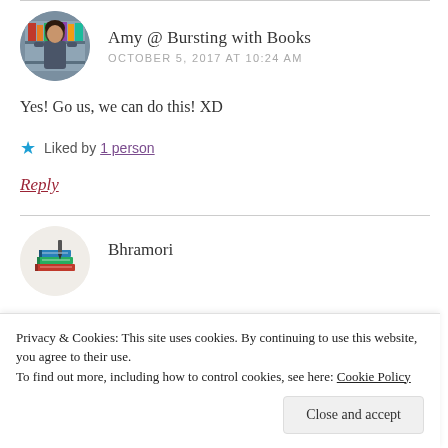Amy @ Bursting with Books
OCTOBER 5, 2017 AT 10:24 AM
Yes! Go us, we can do this! XD
Liked by 1 person
Reply
[Figure (illustration): Circular avatar of Amy — woman in front of bookshelves]
Bhramori
[Figure (illustration): Circular avatar of Bhramori — stack of colorful books]
Privacy & Cookies: This site uses cookies. By continuing to use this website, you agree to their use. To find out more, including how to control cookies, see here: Cookie Policy
Close and accept